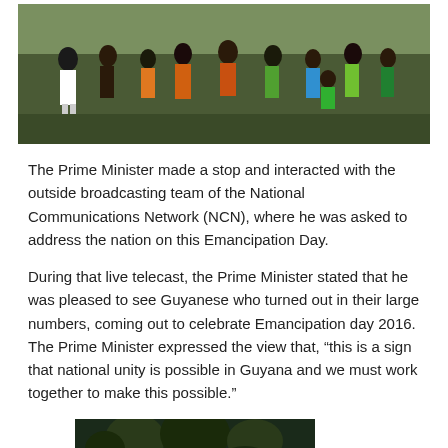[Figure (photo): Group of people including children in colorful clothing standing outdoors on grass]
The Prime Minister made a stop and interacted with the outside broadcasting team of the National Communications Network (NCN), where he was asked to address the nation on this Emancipation Day.
During that live telecast, the Prime Minister stated that he was pleased to see Guyanese who turned out in their large numbers, coming out to celebrate Emancipation day 2016. The Prime Minister expressed the view that, “this is a sign that national unity is possible in Guyana and we must work together to make this possible.”
[Figure (photo): Outdoor scene with trees and foliage]